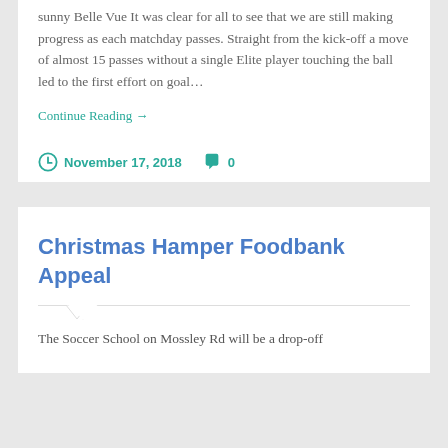sunny Belle Vue It was clear for all to see that we are still making progress as each matchday passes. Straight from the kick-off a move of almost 15 passes without a single Elite player touching the ball led to the first effort on goal…
Continue Reading →
November 17, 2018   0
Christmas Hamper Foodbank Appeal
The Soccer School on Mossley Rd will be a drop-off